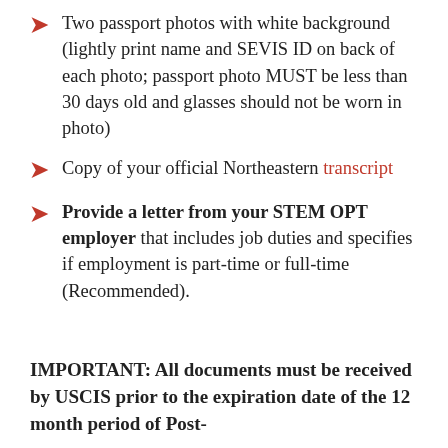Two passport photos with white background (lightly print name and SEVIS ID on back of each photo; passport photo MUST be less than 30 days old and glasses should not be worn in photo)
Copy of your official Northeastern transcript
Provide a letter from your STEM OPT employer that includes job duties and specifies if employment is part-time or full-time (Recommended).
IMPORTANT: All documents must be received by USCIS prior to the expiration date of the 12 month period of Post-